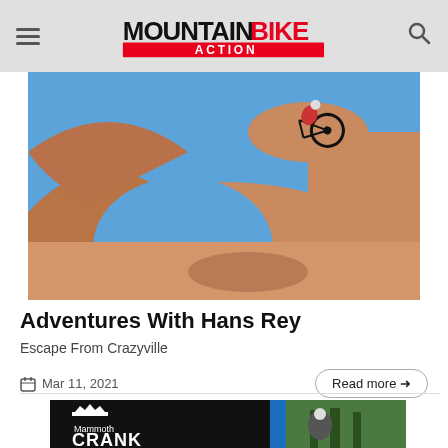Mountain Bike Action
[Figure (photo): Mountain biker riding over a red rock arch/slot canyon formation against a blue sky]
Adventures With Hans Rey
Escape From Crazyville
Mar 11, 2021
Read more →
[Figure (photo): Mammoth Crank advertisement with mountain biker riding through forest in helmet and gear]